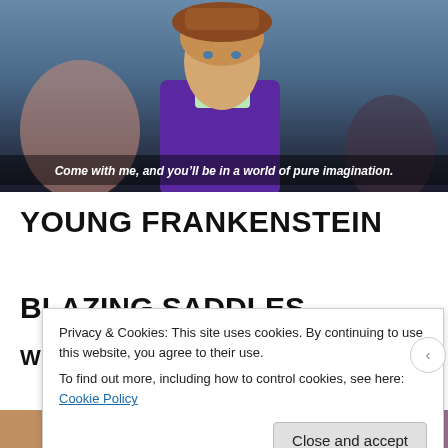[Figure (photo): Movie still from a film showing a man in a purple jacket and brown hat with other people in the background. White italic subtitle text reads: Come with me, and you'll be in a world of pure imagination.]
YOUNG FRANKENSTEIN
BLAZING SADDLES
W
Privacy & Cookies: This site uses cookies. By continuing to use this website, you agree to their use. To find out more, including how to control cookies, see here: Cookie Policy
Close and accept